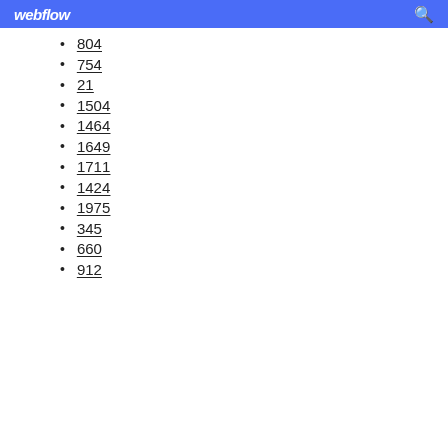webflow
804
754
21
1504
1464
1649
1711
1424
1975
345
660
912